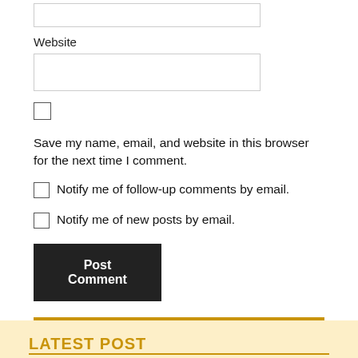Website
Save my name, email, and website in this browser for the next time I comment.
Notify me of follow-up comments by email.
Notify me of new posts by email.
Post Comment
LATEST POST
The Lord Knows the Way of the Righteous (Psalm 1:6)